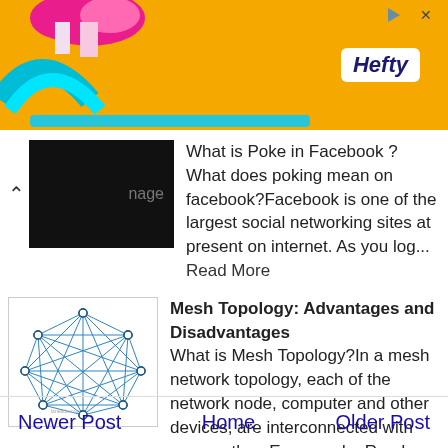[Figure (other): Orange Hefty advertisement banner with decorative elements and Hefty logo]
What is Poke in Facebook ? What does poking mean on facebook?Facebook is one of the largest social networking sites at present on internet. As you log... Read More
[Figure (engineering-diagram): Mesh network topology diagram showing nodes interconnected with lines forming a complete graph]
Mesh Topology: Advantages and Disadvantages
What is Mesh Topology?In a mesh network topology, each of the network node, computer and other devices, are interconnected with one another. Every nod... Read More
Newer Post    Home    Older Post